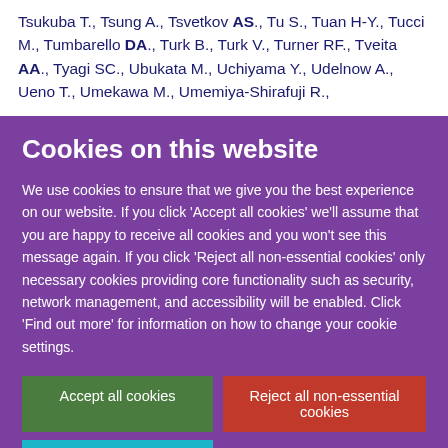Tsukuba T., Tsung A., Tsvetkov AS., Tu S., Tuan H-Y., Tucci M., Tumbarello DA., Turk B., Turk V., Turner RF., Tveita AA., Tyagi SC., Ubukata M., Uchiyama Y., Udelnow A., Ueno T., Umekawa M., Umemiya-Shirafuji R.,
Cookies on this website
We use cookies to ensure that we give you the best experience on our website. If you click 'Accept all cookies' we'll assume that you are happy to receive all cookies and you won't see this message again. If you click 'Reject all non-essential cookies' only necessary cookies providing core functionality such as security, network management, and accessibility will be enabled. Click 'Find out more' for information on how to change your cookie settings.
Accept all cookies
Reject all non-essential cookies
Find out more